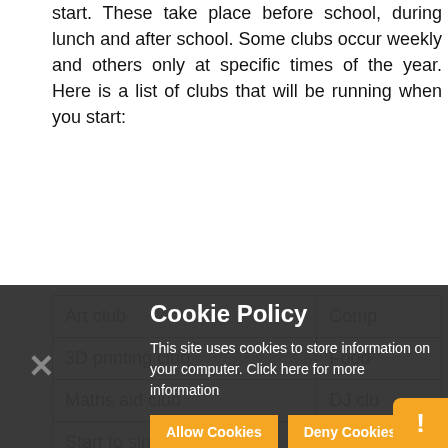start. These take place before school, during lunch and after school. Some clubs occur weekly and others only at specific times of the year. Here is a list of clubs that will be running when you start:
| Art club | Comp… |
| 3D printing club | Food… |
| Maths aid club | DJ clu… |
| Start to sing club | Photo… |
[Figure (screenshot): Cookie Policy overlay dialog with dark background, title 'Cookie Policy', text 'This site uses cookies to store information on your computer. Click here for more information', and two buttons: 'Allow Cookies' and 'Deny Cookies'. An X close button is on the left and an orange warning bubble is bottom right.]